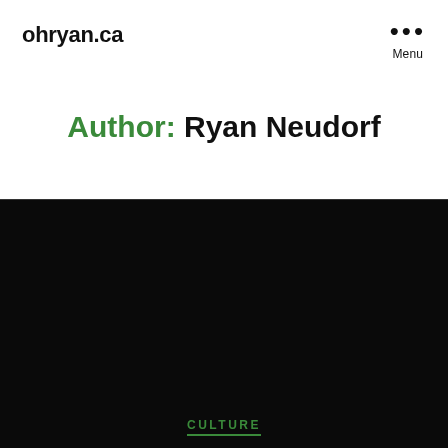ohryan.ca
Author: Ryan Neudorf
CULTURE
When Facebook Turns Against You
By Ryan Neudorf   April 24, 2020
Yesterday Facebook surfaced one of my aunts posts in